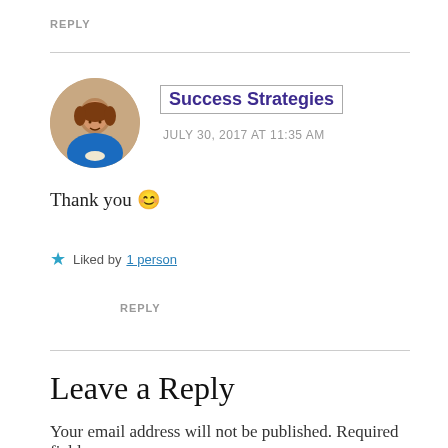REPLY
[Figure (photo): Round avatar photo of a woman in a blue top]
Success Strategies
JULY 30, 2017 AT 11:35 AM
Thank you 😊
★ Liked by 1 person
REPLY
Leave a Reply
Your email address will not be published. Required fields